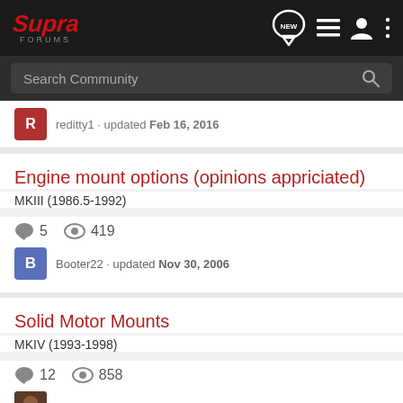Supra Forums navigation bar with logo and icons
Search Community
reditty1 · updated Feb 16, 2016
Engine mount options (opinions appriciated)
MKIII (1986.5-1992)
5  419
Booter22 · updated Nov 30, 2006
Solid Motor Mounts
MKIV (1993-1998)
12  858
donkeypunch · updated Oct 13, 2008